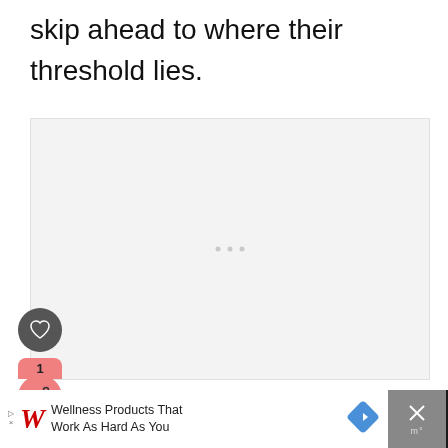skip ahead to where their threshold lies.
[Figure (other): Large light gray placeholder/loading image area with three small gray dots in the center indicating a loading carousel or slideshow.]
[Figure (other): UI overlay buttons: a dark gray circular heart/favorite button, and a pink share button with count badge showing '1' and a share icon.]
[Figure (other): Advertisement bar at the bottom: Walgreens logo with 'Wellness Products That Work As Hard As You' text, a blue diamond arrow icon, and a close X button on dark background.]